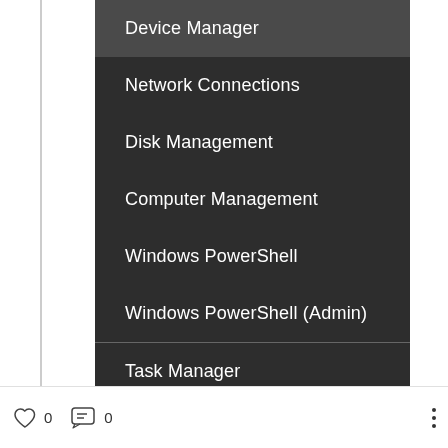[Figure (screenshot): Windows 10 right-click context menu showing system options: Device Manager (highlighted), Network Connections, Disk Management, Computer Management, Windows PowerShell, Windows PowerShell (Admin), separator, Task Manager, Settings, File Explorer, Search, Run, separator, Shut down or sign out with arrow]
Device Manager
Network Connections
Disk Management
Computer Management
Windows PowerShell
Windows PowerShell (Admin)
Task Manager
Settings
File Explorer
Search
Run
Shut down or sign out